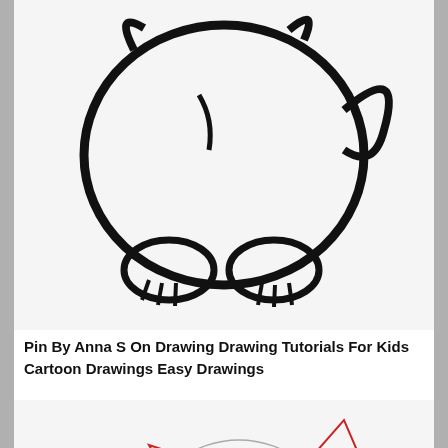[Figure (illustration): Black and white cartoon drawing of a chubby cat viewed from behind/slightly above, curled with paws and claws visible, thick bold outlines on white background.]
Pin By Anna S On Drawing Drawing Tutorials For Kids Cartoon Drawings Easy Drawings
[Figure (illustration): Step-by-step drawing tutorial sketch of a cartoon cat/fox face from the front, showing construction circles and guidelines in gray with red outline markings indicating the ears and face shape, circular eyes, and small mouth details.]